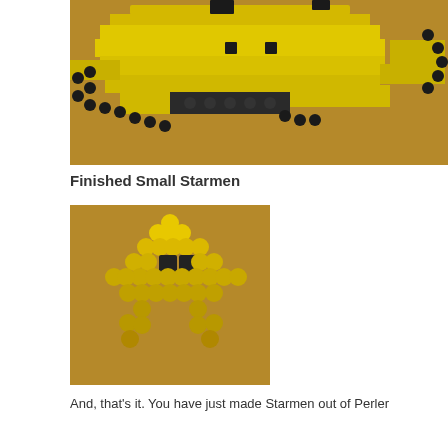[Figure (photo): A pixel art Starman character made from Perler beads, yellow and dark/black beads on a brown surface, showing the large version in progress or finished.]
Finished Small Starmen
[Figure (photo): A finished small Starmen made from yellow Perler beads with dark bead eyes, in a star shape, on a brown surface.]
And, that's it. You have just made Starmen out of Perler